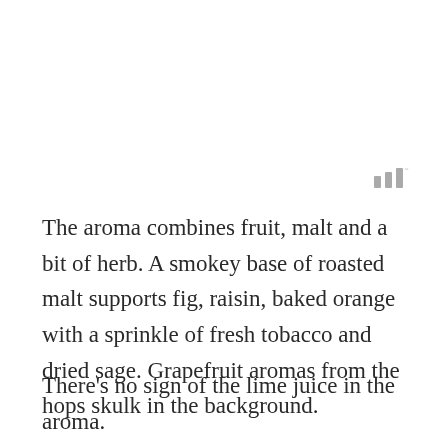[Figure (other): Small icon with three vertical bars of increasing height and a degree symbol, rendered in gray]
The aroma combines fruit, malt and a bit of herb. A smokey base of roasted malt supports fig, raisin, baked orange with a sprinkle of fresh tobacco and dried sage. Grapefruit aromas from the hops skulk in the background.
There’s no sign of the lime juice in the aroma.